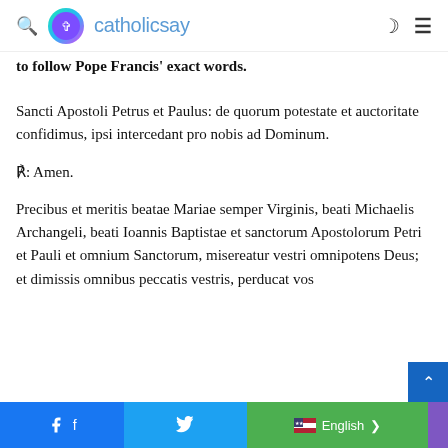catholicsay
to follow Pope Francis' exact words.
Sancti Apostoli Petrus et Paulus: de quorum potestate et auctoritate confidimus, ipsi intercedant pro nobis ad Dominum.
℟: Amen.
Precibus et meritis beatae Mariae semper Virginis, beati Michaelis Archangeli, beati Ioannis Baptistae et sanctorum Apostolorum Petri et Pauli et omnium Sanctorum, misereatur vestri omnipotens Deus; et dimissis omnibus peccatis vestris, perducat vos
Facebook  Twitter  English